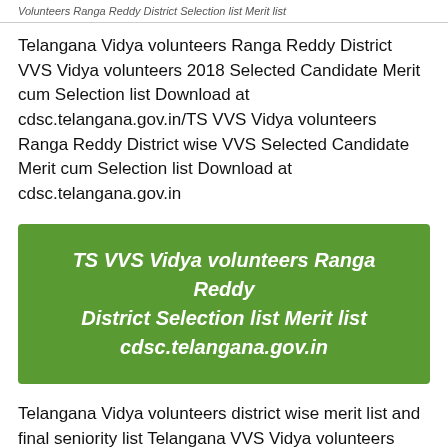Volunteers Ranga Reddy District Selection list Merit list
Telangana Vidya volunteers Ranga Reddy District VVS Vidya volunteers 2018 Selected Candidate Merit cum Selection list Download at cdsc.telangana.gov.in/TS VVS Vidya volunteers Ranga Reddy District wise VVS Selected Candidate Merit cum Selection list Download at cdsc.telangana.gov.in
TS VVS Vidya volunteers Ranga Reddy District Selection list Merit list cdsc.telangana.gov.in
Telangana Vidya volunteers district wise merit list and final seniority list Telangana VVS Vidya volunteers merit list selection list and final selection list at cdsc.telangana.gov.in Telangana Vidya volunteers engaging Vidya volunteers selection list 2018